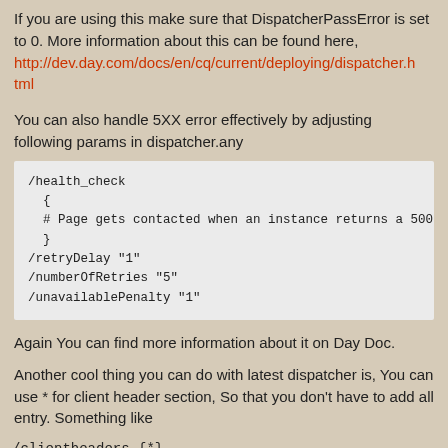If you are using this make sure that DispatcherPassError is set to 0. More information about this can be found here, http://dev.day.com/docs/en/cq/current/deploying/dispatcher.html
You can also handle 5XX error effectively by adjusting following params in dispatcher.any
/health_check
  {
  # Page gets contacted when an instance returns a 500
  }
/retryDelay "1"
/numberOfRetries "5"
/unavailablePenalty "1"
Again You can find more information about it on Day Doc.
Another cool thing you can do with latest dispatcher is, You can use * for client header section, So that you don't have to add all entry. Something like
/clientheaders {*}